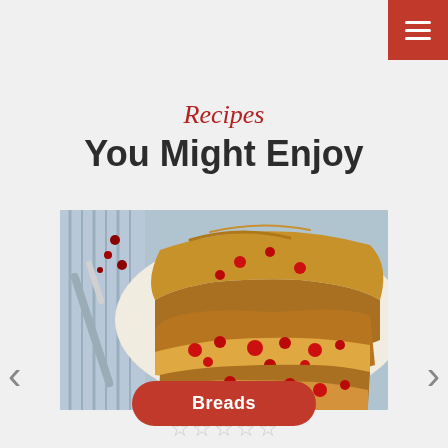≡ (menu icon)
Recipes
You Might Enjoy
[Figure (photo): A sliced cranberry bread loaf on a white serving dish, with a butter knife and cranberries on a striped cloth nearby]
Breads
☆☆☆☆☆ (star rating)